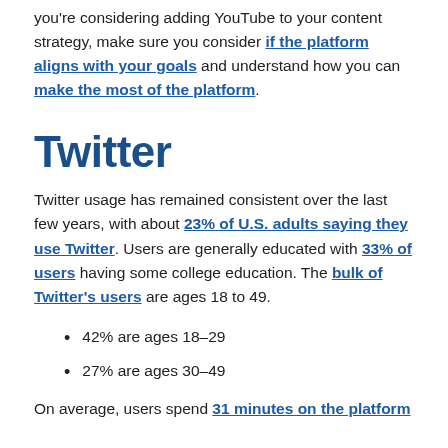you're considering adding YouTube to your content strategy, make sure you consider if the platform aligns with your goals and understand how you can make the most of the platform.
Twitter
Twitter usage has remained consistent over the last few years, with about 23% of U.S. adults saying they use Twitter. Users are generally educated with 33% of users having some college education. The bulk of Twitter's users are ages 18 to 49.
42% are ages 18–29
27% are ages 30–49
On average, users spend 31 minutes on the platform